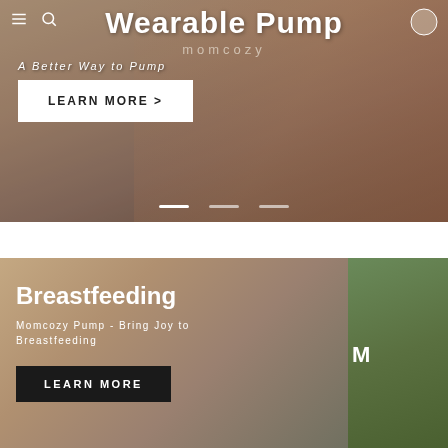[Figure (screenshot): Hero banner showing a woman sitting, wearing a wearable breast pump, with website navigation overlay. Text reads 'Wearable Pump', 'momcozy', 'A Better Way to Pump', and a 'LEARN MORE >' button. Carousel dots at bottom.]
[Figure (screenshot): Product category card showing a smiling woman breastfeeding/holding baby with a wearable pump on black sports bra. Text reads 'Breastfeeding', 'Momcozy Pump - Bring Joy to Breastfeeding', and a 'LEARN MORE' button.]
[Figure (photo): Partially visible second card with green/nature background and partial letter 'M' visible.]